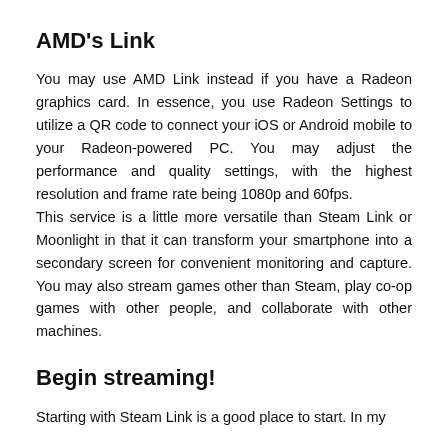AMD's Link
You may use AMD Link instead if you have a Radeon graphics card. In essence, you use Radeon Settings to utilize a QR code to connect your iOS or Android mobile to your Radeon-powered PC. You may adjust the performance and quality settings, with the highest resolution and frame rate being 1080p and 60fps. This service is a little more versatile than Steam Link or Moonlight in that it can transform your smartphone into a secondary screen for convenient monitoring and capture. You may also stream games other than Steam, play co-op games with other people, and collaborate with other machines.
Begin streaming!
Starting with Steam Link is a good place to start. In my